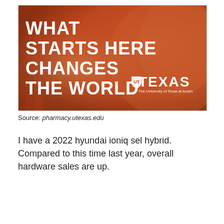[Figure (illustration): University of Texas at Austin promotional banner with burnt orange background. Large white bold text reads 'WHAT STARTS HERE CHANGES THE WORLD' on the left. UT Texas logo and wordmark 'TEXAS / The University of Texas at Austin' in white on the lower right.]
Source: pharmacy.utexas.edu
I have a 2022 hyundai ioniq sel hybrid. Compared to this time last year, overall hardware sales are up.